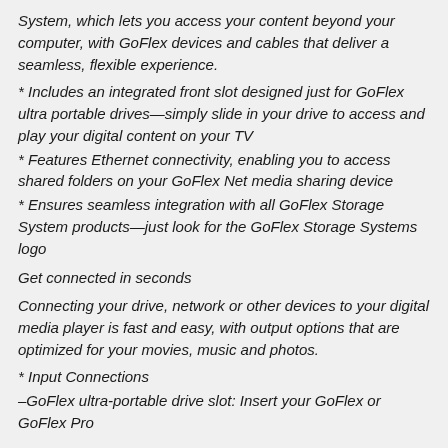System, which lets you access your content beyond your computer, with GoFlex devices and cables that deliver a seamless, flexible experience.
* Includes an integrated front slot designed just for GoFlex ultra portable drives—simply slide in your drive to access and play your digital content on your TV
* Features Ethernet connectivity, enabling you to access shared folders on your GoFlex Net media sharing device
* Ensures seamless integration with all GoFlex Storage System products—just look for the GoFlex Storage Systems logo
Get connected in seconds
Connecting your drive, network or other devices to your digital media player is fast and easy, with output options that are optimized for your movies, music and photos.
* Input Connections
–GoFlex ultra-portable drive slot: Insert your GoFlex or GoFlex Pro